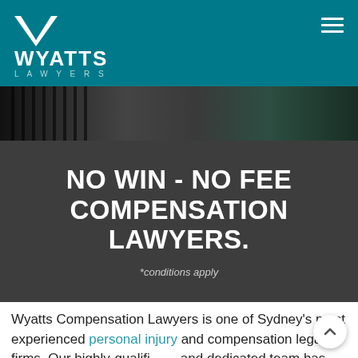WYATTS LAWYERS
[Figure (photo): Dark photo strip showing people in professional/legal attire with vertical bars visible at left]
NO WIN - NO FEE COMPENSATION LAWYERS.
*conditions apply
Wyatts Compensation Lawyers is one of Sydney's most experienced personal injury and compensation legal firms. Our highly-qualified and dedicated team has more than 150 years